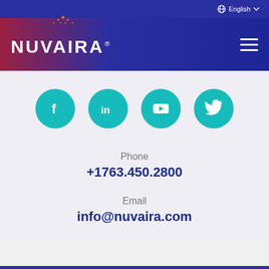English
[Figure (logo): Nuvaira logo with orange dot pattern above text on dark blue/gradient navigation bar with hamburger menu]
[Figure (infographic): Four teal circular social media icons: Facebook, LinkedIn, YouTube, Twitter]
Phone
+1763.450.2800
Email
info@nuvaira.com